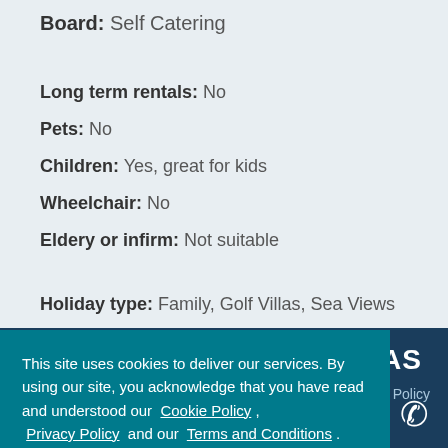Board: Self Catering
Long term rentals: No
Pets: No
Children: Yes, great for kids
Wheelchair: No
Eldery or infirm: Not suitable
Holiday type: Family, Golf Villas, Sea Views
This site uses cookies to deliver our services. By using our site, you acknowledge that you have read and understood our Cookie Policy , Privacy Policy and our Terms and Conditions . Your use of this website is subject to these policies and terms.
Got it!
AS
Privacy Policy